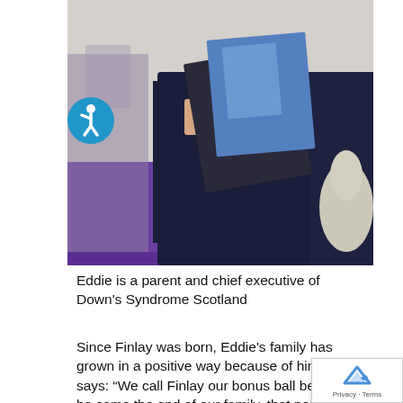[Figure (photo): A person in a dark navy suit holding a book/pamphlet with a blue cover, standing at an event with a purple-draped table and a dog visible on the right side. An accessibility (wheelchair) icon badge is overlaid on the bottom-left of the image.]
Eddie is a parent and chief executive of Down's Syndrome Scotland
Since Finlay was born, Eddie's family has grown in a positive way because of him, he says: “We call Finlay our bonus ball because he came the end of our family, that positive narrative something we really need to push and make something the parents of children from a d